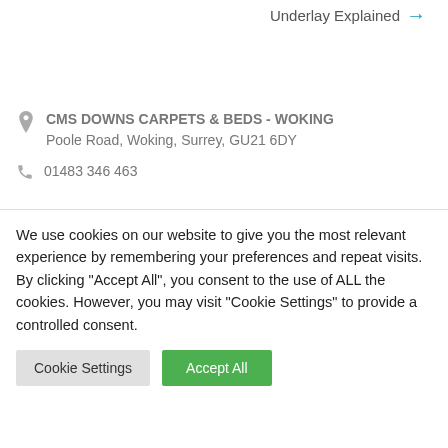Underlay Explained →
CMS DOWNS CARPETS & BEDS - WOKING
Poole Road, Woking, Surrey, GU21 6DY
01483 346 463
We use cookies on our website to give you the most relevant experience by remembering your preferences and repeat visits. By clicking "Accept All", you consent to the use of ALL the cookies. However, you may visit "Cookie Settings" to provide a controlled consent.
Cookie Settings
Accept All